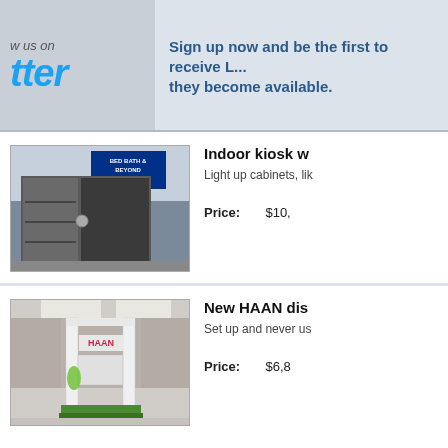w us on
tter
Sign up now and be the first to receive L... they become available.
[Figure (photo): Indoor kiosk with open cabinet doors showing shelving inside, located in a retail store environment with Bed Bath & Beyond visible in background.]
Indoor kiosk w
Light up cabinets, lik
Price:   $10,
[Figure (photo): New HAAN display kiosk set up in a mall corridor. The tall white kiosk has HAAN branding and stands on green turf.]
New HAAN dis
Set up and never us
Price:   $6,8